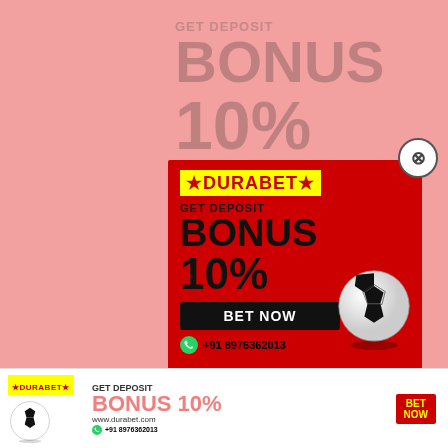[Figure (infographic): Durabet betting advertisement popup showing 'GET DEPOSIT BONUS 10%' with red background, DURABET logo in yellow, BET NOW button, soccer ball, WhatsApp number +91 8976362013, and a bottom banner with the same branding.]